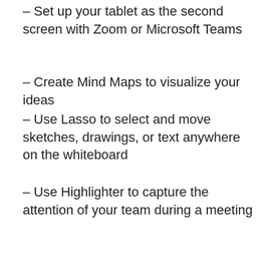– Set up your tablet as the second screen with Zoom or Microsoft Teams
– Create Mind Maps to visualize your ideas
– Use Lasso to select and move sketches, drawings, or text anywhere on the whiteboard
– Use Highlighter to capture the attention of your team during a meeting